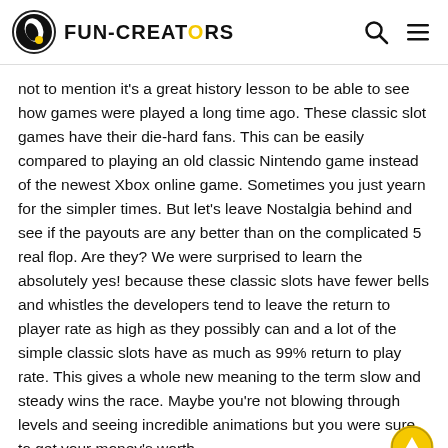FUN-CREATORS
not to mention it's a great history lesson to be able to see how games were played a long time ago. These classic slot games have their die-hard fans. This can be easily compared to playing an old classic Nintendo game instead of the newest Xbox online game. Sometimes you just yearn for the simpler times. But let's leave Nostalgia behind and see if the payouts are any better than on the complicated 5 real flop. Are they? We were surprised to learn the absolutely yes! because these classic slots have fewer bells and whistles the developers tend to leave the return to player rate as high as they possibly can and a lot of the simple classic slots have as much as 99% return to play rate. This gives a whole new meaning to the term slow and steady wins the race. Maybe you're not blowing through levels and seeing incredible animations but you were sure to get your money's worth